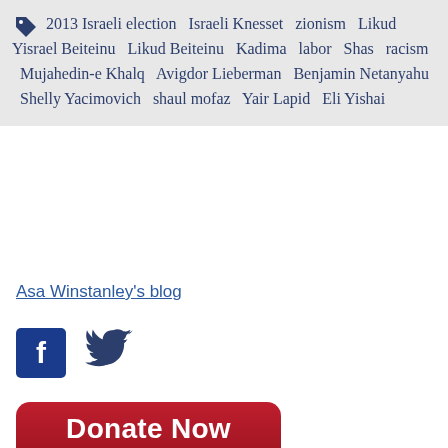2013 Israeli election  Israeli Knesset  zionism  Likud  Yisrael Beiteinu  Likud Beiteinu  Kadima  labor  Shas  racism  Mujahedin-e Khalq  Avigdor Lieberman  Benjamin Netanyahu  Shelly Yacimovich  shaul mofaz  Yair Lapid  Eli Yishai
Asa Winstanley's blog
[Figure (illustration): Facebook icon (blue square with white F) and Twitter bird icon (dark blue)]
[Figure (illustration): Donate Now button - dark red rounded rectangle with white text 'Donate Now' and subtitle 'Secure donations through Network for Good']
ASA WINSTANLEY
[Figure (photo): Headshot photo of Asa Winstanley with bookshelves in background]